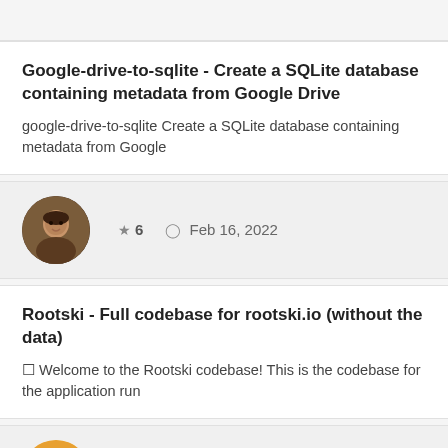Google-drive-to-sqlite - Create a SQLite database containing metadata from Google Drive
google-drive-to-sqlite Create a SQLite database containing metadata from Google
[Figure (photo): Round avatar photo of a person with dark hair]
★ 6  🕐 Feb 16, 2022
Rootski - Full codebase for rootski.io (without the data)
🔨 Welcome to the Rootski codebase! This is the codebase for the application run
[Figure (photo): Round avatar photo of a young man smiling, yellow/orange background]
★ 2  🕐 Feb 16, 2022